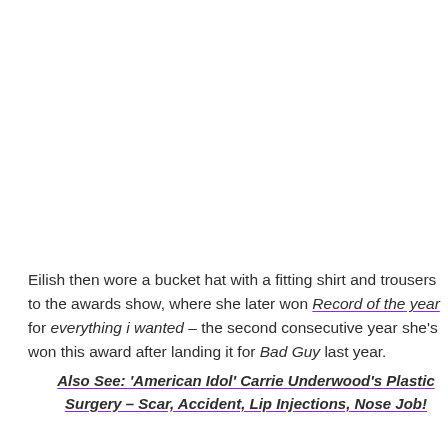Eilish then wore a bucket hat with a fitting shirt and trousers to the awards show, where she later won Record of the year for everything i wanted – the second consecutive year she's won this award after landing it for Bad Guy last year.
Also See: 'American Idol' Carrie Underwood's Plastic Surgery – Scar, Accident, Lip Injections, Nose Job!